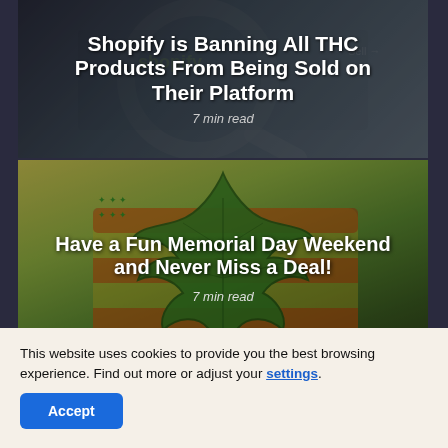[Figure (photo): Article card with dark background showing Shopify website with magnifying glass. Title overlay: 'Shopify is Banning All THC Products From Being Sold on Their Platform'. Read time: 7 min read.]
Shopify is Banning All THC Products From Being Sold on Their Platform
7 min read
[Figure (photo): Article card with cannabis leaf illustration shaped like US map with American flag colors (green, gold, red stripes). Title overlay: 'Have a Fun Memorial Day Weekend and Never Miss a Deal!'. Read time: 7 min read.]
Have a Fun Memorial Day Weekend and Never Miss a Deal!
7 min read
This website uses cookies to provide you the best browsing experience. Find out more or adjust your settings.
Accept